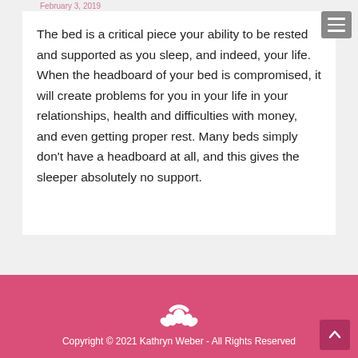February 3, 2019
The bed is a critical piece your ability to be rested and supported as you sleep, and indeed, your life. When the headboard of your bed is compromised, it will create problems for you in your life in your relationships, health and difficulties with money, and even getting proper rest. Many beds simply don't have a headboard at all, and this gives the sleeper absolutely no support.
[Figure (logo): White lotus/meditation logo on pink background]
Copyright © 2021 Kathryn Weber - All Rights Reserved